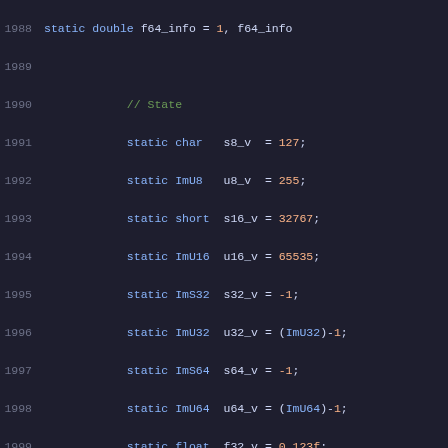Source code listing, lines 1988-2009, C++ ImGui demo code showing state variables and drag widget setup
[Figure (screenshot): Code editor view showing C++ source lines 1988-2009 with syntax highlighting. Dark background with line numbers, blue keywords, green comments, orange numeric literals, and green string literals.]